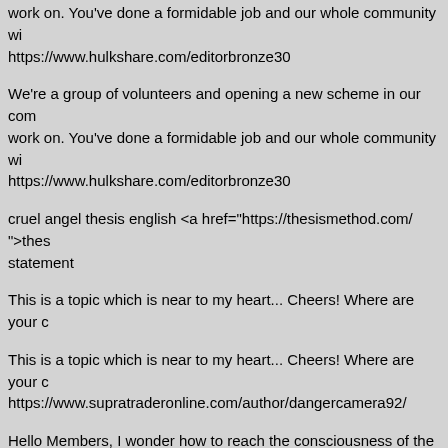work on. You've done a formidable job and our whole community wi
https://www.hulkshare.com/editorbronze30
We're a group of volunteers and opening a new scheme in our com
work on. You've done a formidable job and our whole community wi
https://www.hulkshare.com/editorbronze30
cruel angel thesis english <a href="https://thesismethod.com/ ">the
statement
This is a topic which is near to my heart... Cheers! Where are your c
This is a topic which is near to my heart... Cheers! Where are your c
https://www.supratraderonline.com/author/dangercamera92/
Hello Members, I wonder how to reach the consciousness of the Ru
RUSSIAN SOLDIERS DIE and military equipment is being destroye
build and create a new, better world. WAR is suffering, crying, sadne
that Vladimir Putin should retire, bask in the sun somewhere in war
idea to select random companies from Russia on Google business c
people in the country aware that Putin is doing wrong. Please take a
and add your opinion about anti-war content. It is also worth informi
because Russia is blocking a lot of content on the Internet and sowi
information Peace be with you! Thank you Tomasz Jerzy Micha\xc5\
Footer Powered By